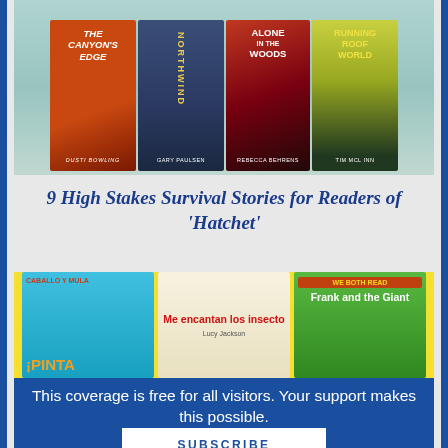[Figure (photo): Four book covers fanned out: The Canyon's Edge by Dusti Bowling, Northwind by Gary Paulsen, Alone in the Woods by Rebecca Behrens, Running Roof World by Tim Mclain]
9 High Stakes Survival Stories for Readers of 'Hatchet'
[Figure (photo): Three book covers: ¡Pintal, Me encantan los insectos by Lucy Jackson, Frank and the Giant (We Both Read series)]
This coverage is free for all visitors. Your support makes this possible.
SUBSCRIBE